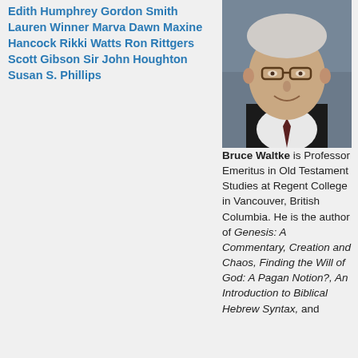Edith Humphrey Gordon Smith Lauren Winner Marva Dawn Maxine Hancock Rikki Watts Ron Rittgers Scott Gibson Sir John Houghton Susan S. Phillips
[Figure (photo): Headshot of an elderly man with glasses, white hair, wearing a dark suit and tie, smiling]
Bruce Waltke is Professor Emeritus in Old Testament Studies at Regent College in Vancouver, British Columbia. He is the author of Genesis: A Commentary, Creation and Chaos, Finding the Will of God: A Pagan Notion?, An Introduction to Biblical Hebrew Syntax, and